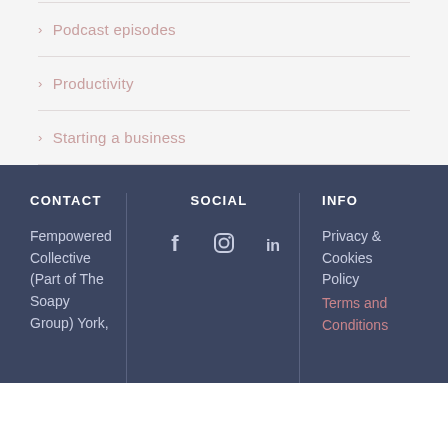Podcast episodes
Productivity
Starting a business
CONTACT
Fempowered Collective (Part of The Soapy Group) York,
SOCIAL
[Figure (infographic): Social media icons: Facebook, Instagram, LinkedIn]
INFO
Privacy & Cookies Policy
Terms and Conditions